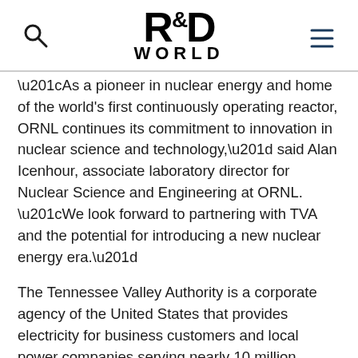R&D WORLD
“As a pioneer in nuclear energy and home of the world's first continuously operating reactor, ORNL continues its commitment to innovation in nuclear science and technology,” said Alan Icenhour, associate laboratory director for Nuclear Science and Engineering at ORNL. “We look forward to partnering with TVA and the potential for introducing a new nuclear energy era.”
The Tennessee Valley Authority is a corporate agency of the United States that provides electricity for business customers and local power companies serving nearly 10 million people in parts of seven southeastern states. TVA receives no taxpayer funding, deriving virtually all of its revenues from sales of electricity. In addition to operating and investing its revenues in its electric system, TVA provides flood control, navigation and land management for the Tennessee River system and assists local power companies and state and local governments with economic